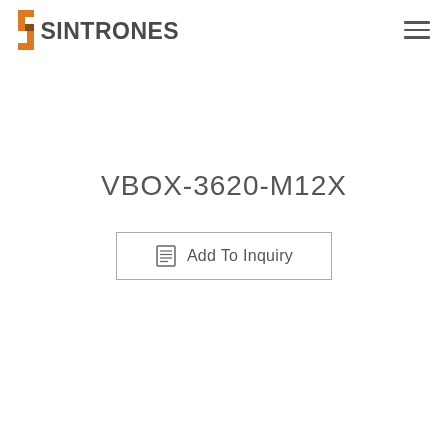SINTRONES
VBOX-3620-M12X
Add To Inquiry